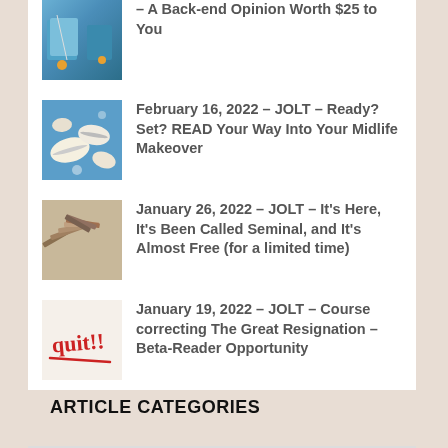A Back-end Opinion Worth $25 to You
February 16, 2022 – JOLT – Ready? Set? READ Your Way Into Your Midlife Makeover
January 26, 2022 – JOLT – It's Here, It's Been Called Seminal, and It's Almost Free (for a limited time)
January 19, 2022 – JOLT – Course correcting The Great Resignation – Beta-Reader Opportunity
ARTICLE CATEGORIES